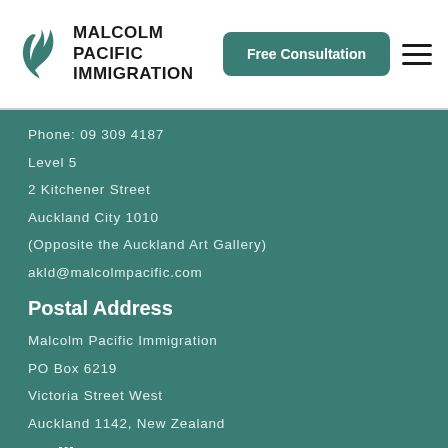[Figure (logo): Malcolm Pacific Immigration logo with stylized flame/wing icon in teal and bold black text]
Free Consultation
Phone: 09 309 4187
Level 5
2 Kitchener Street
Auckland City 1010
(Opposite the Auckland Art Gallery)
akld@malcolmpacific.com
Postal Address
Malcolm Pacific Immigration
PO Box 6219
Victoria Street West
Auckland 1142, New Zealand
Wellington